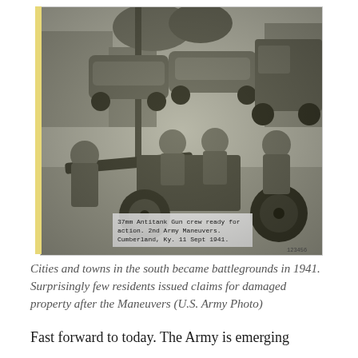[Figure (photo): Black and white WWII-era photograph showing soldiers crouched around a 37mm Antitank Gun in a town street setting, with vintage automobiles and a military truck in the background. A label in the photo reads: '37mm Antitank Gun crew ready for action. 2nd Army Maneuvers. Cumberland, Ky. 11 Sept 1941.']
Cities and towns in the south became battlegrounds in 1941. Surprisingly few residents issued claims for damaged property after the Maneuvers (U.S. Army Photo)
Fast forward to today. The Army is emerging